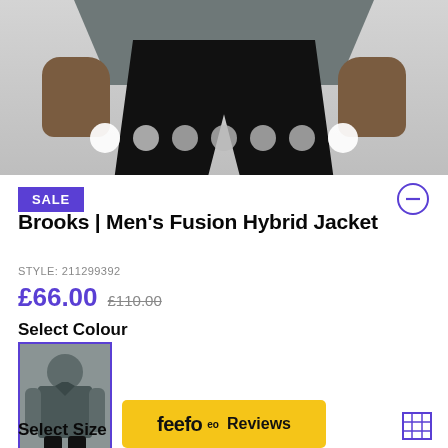[Figure (photo): Product photo showing person wearing black running tights/shorts, hands visible holding items, with carousel dots at bottom]
SALE
Brooks | Men's Fusion Hybrid Jacket
STYLE: 211299392
£66.00  £110.00
Select Colour
[Figure (photo): Colour swatch thumbnail showing grey Brooks Fusion Hybrid Jacket worn by a male model]
Select Size
[Figure (logo): Feefo Reviews yellow banner logo]